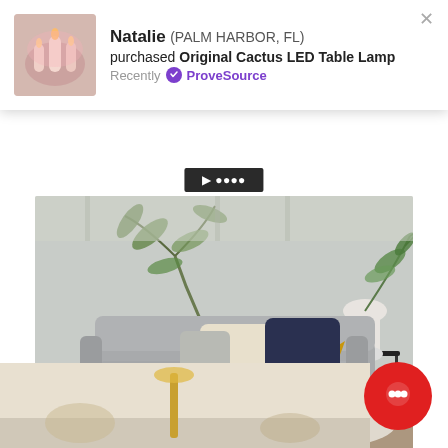[Figure (screenshot): ProveSource notification popup showing Natalie from Palm Harbor FL purchased Original Cactus LED Table Lamp, with a product image thumbnail on the left and text on the right, plus a close X button]
[Figure (photo): Interior living room scene with a grey sofa, navy and cream pillows, yellow/mustard throw blanket, copper vase with eucalyptus branches on a white coffee table, candle, and a black side table with a white vase in the background]
Our Biggest Black Friday Post EVER - From Big Box...
[Figure (photo): Partial bottom image showing a decorative lamp or object, partially visible, with a red circular chat button overlaid at bottom right]